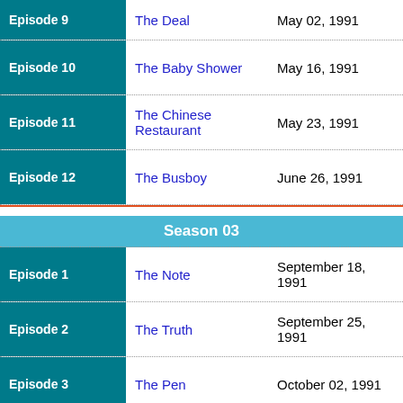| Episode | Title | Air Date |
| --- | --- | --- |
| Episode 9 | The Deal | May 02, 1991 |
| Episode 10 | The Baby Shower | May 16, 1991 |
| Episode 11 | The Chinese Restaurant | May 23, 1991 |
| Episode 12 | The Busboy | June 26, 1991 |
Season 03
| Episode | Title | Air Date |
| --- | --- | --- |
| Episode 1 | The Note | September 18, 1991 |
| Episode 2 | The Truth | September 25, 1991 |
| Episode 3 | The Pen | October 02, 1991 |